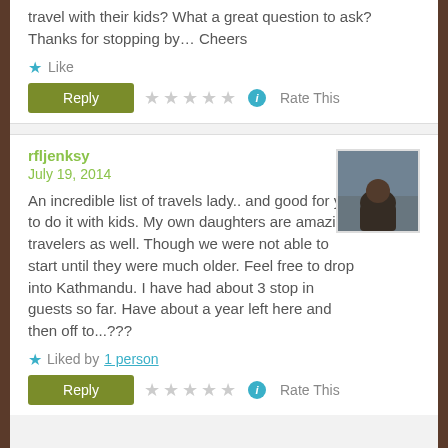travel with their kids? What a great question to ask? Thanks for stopping by... Cheers
Like
Reply   ☆☆☆☆☆  Rate This
rfljenksy
July 19, 2014
[Figure (photo): Avatar photo of commenter rfljenksy showing a person outdoors]
An incredible list of travels lady.. and good for you to do it with kids. My own daughters are amazing travelers as well. Though we were not able to start until they were much older. Feel free to drop into Kathmandu. I have had about 3 stop in guests so far. Have about a year left here and then off to...???
Liked by 1 person
Reply   ☆☆☆☆☆  Rate This